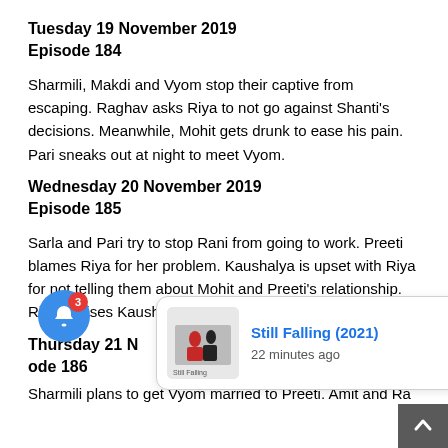Tuesday 19 November 2019
Episode 184
Sharmili, Makdi and Vyom stop their captive from escaping. Raghav asks Riya to not go against Shanti's decisions. Meanwhile, Mohit gets drunk to ease his pain. Pari sneaks out at night to meet Vyom.
Wednesday 20 November 2019
Episode 185
Sarla and Pari try to stop Rani from going to work. Preeti blames Riya for her problem. Kaushalya is upset with Riya for not telling them about Mohit and Preeti's relationship. Riya advises Kaushalya to speak to Mohit's parents.
Thursday 21 N...
...ode 186
Sharmili plans to get Vyom married to Preeti. Amit and Ra...
[Figure (other): Notification popup card showing 'Still Falling (2021)' with a movie poster thumbnail and '22 minutes ago' text. Also shows a blue notification bell button with red badge showing '3', a close X button, and a scroll-to-top arrow button.]